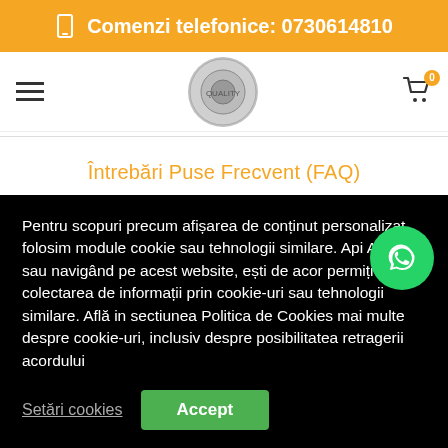Comenzi telefonice: 0730614810
[Figure (logo): Circular logo with emblem in center, navigation bar with hamburger menu left and cart icon right showing badge 0]
Întrebări Puse Frecvent (FAQ)
Politica de Retur
Pentru scopuri precum afișarea de conținut personalizat, folosim module cookie sau tehnologii similare. Apă Accept sau navigând pe acest website, ești de acor permiți colectarea de informații prin cookie-uri sau tehnologii similare. Află in sectiunea Politica de Cookies mai multe despre cookie-uri, inclusiv despre posibilitatea retragerii acordului
Setări cookies
Accept